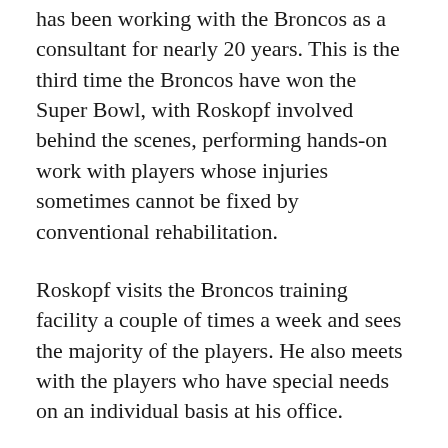has been working with the Broncos as a consultant for nearly 20 years. This is the third time the Broncos have won the Super Bowl, with Roskopf involved behind the scenes, performing hands-on work with players whose injuries sometimes cannot be fixed by conventional rehabilitation.
Roskopf visits the Broncos training facility a couple of times a week and sees the majority of the players. He also meets with the players who have special needs on an individual basis at his office.
But what does he do that is so special?
While Roskopf doesn't provide medical treatment, he does work with athletes after they've sustained an injury using methods that are not focused on treating the injured area directly, but rather on improving muscle function throughout the body, to take the stress off the injured